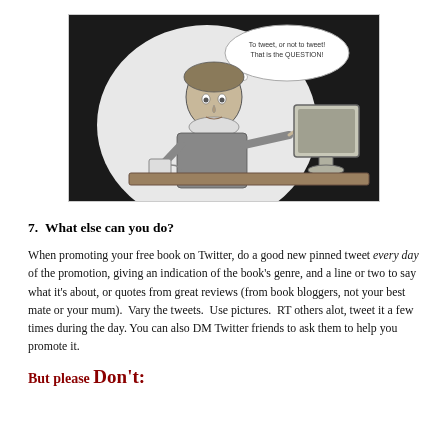[Figure (illustration): Cartoon of Shakespeare sitting at a computer with a thought bubble reading 'To tweet, or not to tweet! That is the QUESTION!']
7.  What else can you do?
When promoting your free book on Twitter, do a good new pinned tweet every day of the promotion, giving an indication of the book's genre, and a line or two to say what it's about, or quotes from great reviews (from book bloggers, not your best mate or your mum).  Vary the tweets.  Use pictures.  RT others alot, tweet it a few times during the day. You can also DM Twitter friends to ask them to help you promote it.
But please Don't: